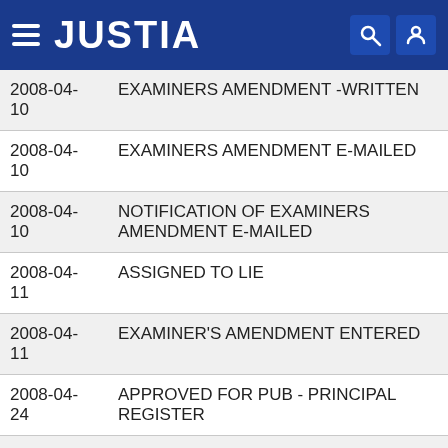JUSTIA
| Date | Event |
| --- | --- |
| 2008-04-10 | EXAMINERS AMENDMENT -WRITTEN |
| 2008-04-10 | EXAMINERS AMENDMENT E-MAILED |
| 2008-04-10 | NOTIFICATION OF EXAMINERS AMENDMENT E-MAILED |
| 2008-04-11 | ASSIGNED TO LIE |
| 2008-04-11 | EXAMINER'S AMENDMENT ENTERED |
| 2008-04-24 | APPROVED FOR PUB - PRINCIPAL REGISTER |
| 2008-04-28 | LAW OFFICE PUBLICATION REVIEW COMPLETED |